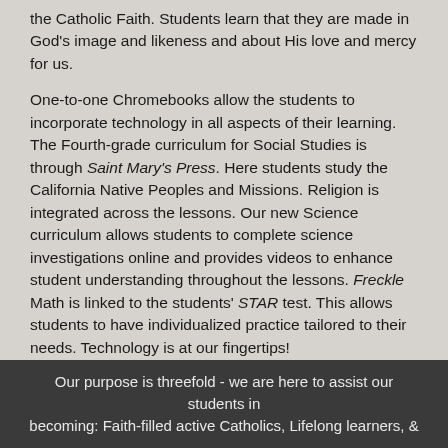the Catholic Faith. Students learn that they are made in God's image and likeness and about His love and mercy for us.
One-to-one Chromebooks allow the students to incorporate technology in all aspects of their learning. The Fourth-grade curriculum for Social Studies is through Saint Mary's Press. Here students study the California Native Peoples and Missions. Religion is integrated across the lessons. Our new Science curriculum allows students to complete science investigations online and provides videos to enhance student understanding throughout the lessons. Freckle Math is linked to the students' STAR test. This allows students to have individualized practice tailored to their needs. Technology is at our fingertips!
Our purpose is threefold - we are here to assist our students in becoming: Faith-filled active Catholics, Lifelong learners, &